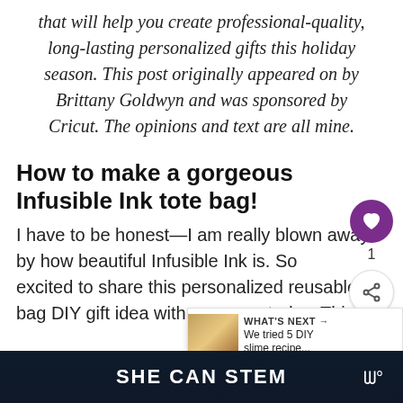that will help you create professional-quality, long-lasting personalized gifts this holiday season. This post originally appeared on by Brittany Goldwyn and was sponsored by Cricut. The opinions and text are all mine.
How to make a gorgeous Infusible Ink tote bag!
I have to be honest—I am really blown away by how beautiful Infusible Ink is. So excited to share this personalized reusable bag DIY gift idea with you guys today. This is
SHE CAN STEM